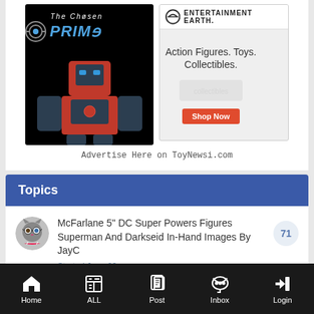[Figure (logo): The Chosen Prime logo with Optimus Prime figure on black background]
[Figure (logo): Entertainment Earth ad: Action Figures. Toys. Collectibles. Shop Now button]
Advertise Here on ToyNewsi.com
Topics
McFarlane 5" DC Super Powers Figures Superman And Darkseid In-Hand Images By JayC
Started June 29
Home  ALL  Post  Inbox  Login